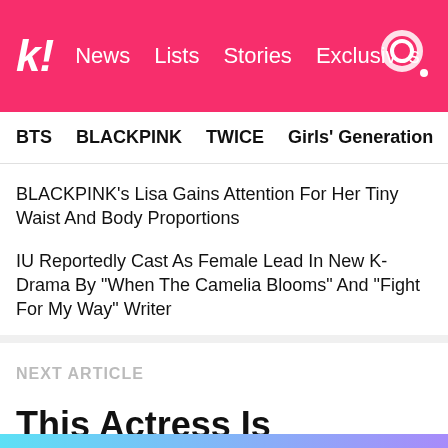k! News Lists Stories Exclusives
BTS BLACKPINK TWICE Girls' Generation NCT aespa
BLACKPINK's Lisa Gains Attention For Her Tiny Waist And Body Proportions
IU Reportedly Cast As Female Lead In New K-Drama By "When The Camelia Blooms" And "Fight For My Way" Writer
NEXT ARTICLE
This Actress Is Rumored To Be One Of The Prettiest Korean Celebs In Person